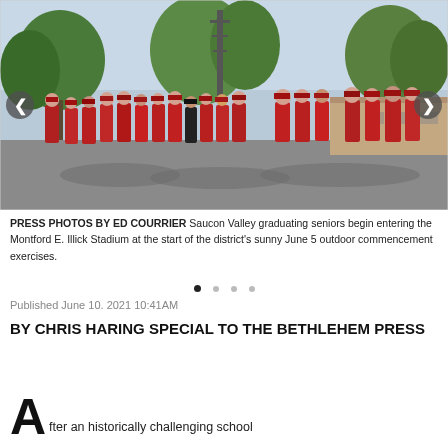[Figure (photo): Graduation procession: a long line of students in red caps and gowns walking outdoors toward a stadium, with trees, a communications tower, and a building in the background on a sunny day.]
PRESS PHOTOS BY ED COURRIER Saucon Valley graduating seniors begin entering the Montford E. Illick Stadium at the start of the district's sunny June 5 outdoor commencement exercises.
Published June 10. 2021 10:41AM
BY CHRIS HARING SPECIAL TO THE BETHLEHEM PRESS
After an historically challenging school